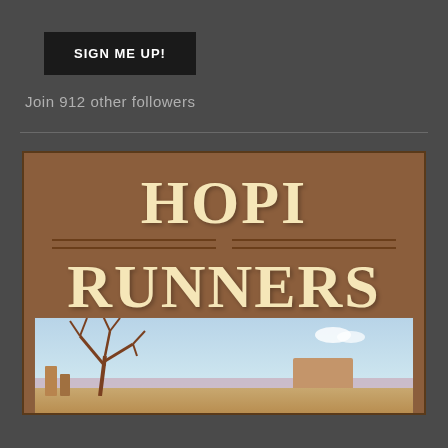SIGN ME UP!
Join 912 other followers
[Figure (illustration): Book cover for 'HOPI RUNNERS' showing large bold serif text on a brown background with decorative horizontal lines, and an illustrated landscape below featuring a bare dead tree, desert mesa formations, and a light blue sky.]